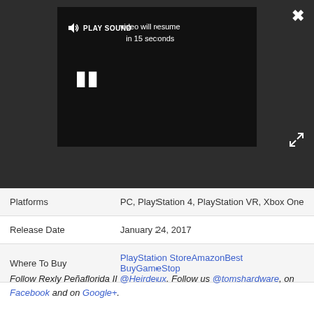[Figure (screenshot): Video player overlay on dark background showing 'PLAY SOUND' and 'video will resume in 15 seconds' with a pause button. Close (X) and expand icons visible.]
| Platforms | PC, PlayStation 4, PlayStation VR, Xbox One |
| Release Date | January 24, 2017 |
| Where To Buy | PlayStation StoreAmazonBest BuyGameStop |
Follow Rexly Peñaflorida II @Heirdeux. Follow us @tomshardware, on Facebook and on Google+.